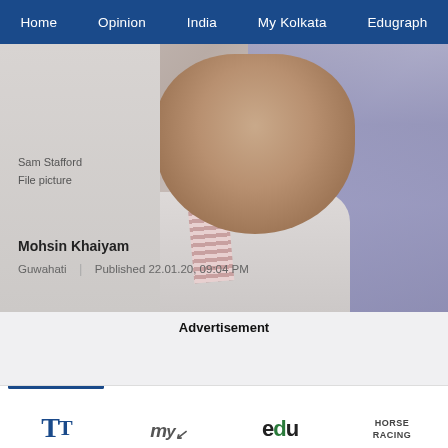Home  Opinion  India  My Kolkata  Edugraph
[Figure (photo): Photograph of Mohsin Khaiyam, showing a person from neck up with a striped stole/scarf, white shirt, taken indoors with a light background]
Sam Stafford
File picture
Mohsin Khaiyam
Guwahati  |  Published 22.01.20, 09:04 PM
Advertisement
TT  my  edu  HORSE RACING